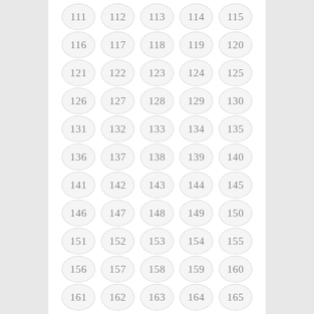[Figure (infographic): Grid of numbered circles from 111 to 165, arranged in 11 rows of 5 columns. Each number is displayed inside a light gray circle with a subtle border.]